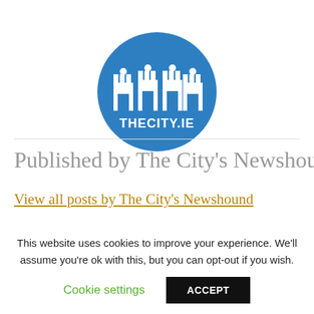[Figure (logo): TheCity.ie circular blue logo with white castle/building icons and text THECITY.IE]
Published by The City's Newshound
View all posts by The City's Newshound
This website uses cookies to improve your experience. We'll assume you're ok with this, but you can opt-out if you wish.
Cookie settings
ACCEPT